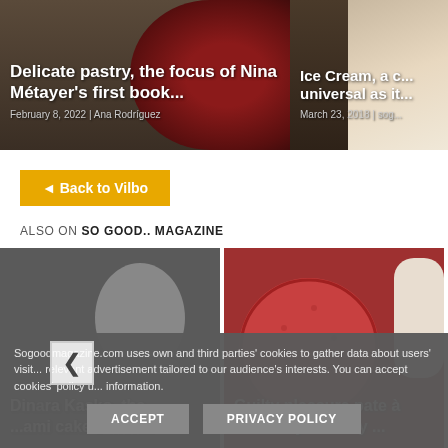[Figure (photo): Article card: Delicate pastry, the focus of Nina Métayer's first book... with a red rose pastry image, dated February 8, 2022 by Ana Rodriguez]
[Figure (photo): Article card: Ice Cream, a c... universal as it... dated March 23, 2018 by sog...]
◄ Back to Vilbo
ALSO ON SO GOOD.. MAGAZINE
[Figure (photo): Slider card: Dinara Kasko, the ...ami cake's molds - portrait of a woman]
[Figure (photo): Slider card: Guilty pleasure pate à choux by Amaury ... - red dessert photo]
Sogoodmagazine.com uses own and third parties' cookies to gather data about users' visit... relevant advertisement tailored to our audience's interests. You can accept cookies' policy u... information.
ACCEPT
PRIVACY POLICY